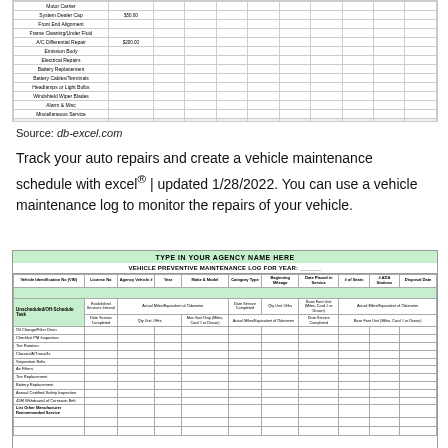[Figure (table-as-image): Top portion of a vehicle maintenance cost spreadsheet showing rows for various maintenance items with dollar amounts and a TOTAL MONTHLY MAINTENANCE COSTS row at the bottom.]
Source: db-excel.com
Track your auto repairs and create a vehicle maintenance schedule with excel® | updated 1/28/2022. You can use a vehicle maintenance log to monitor the repairs of your vehicle.
| TYPE IN YOUR AGENCY NAME HERE | VEHICLE PREVENTIVE MAINTENANCE LOG FOR YEAR: ______ |
| --- | --- |
| Vehicle Identification No (VIN) | License No | Agency Vehicle # | Year | Make & Model | Category Type | Beginning Mileage | Date Placed in Service | # of Seats | # ADA Stations | Disposal Date |
| Unscheduled/Off-Schedule Task | Established Services Interval | Actual Miles/Equivalent of Odometer | Date Service Completed | Qty Unit #/Hrs | Base Fare Unit (Miles, Card # or Drawn) | Actual Miles/Equivalent of Odometer | Date Service Completed | Qty Unit #/Hrs | Max Size Disp (Miles, Card # or Drawn) | Actual Miles/Equivalent of Odometer | Date Service Completed | Qty Unit #/Hrs | Base Fare Unit (Miles, Card # or Drawn) |
| Oil Change/Filter Drain |  |  |  |  |  |  |  |  |  |  |  |  |  |
| Checklist PM Inspection |  |  |  |  |  |  |  |  |  |  |  |  |  |
| Tire Rotation |  |  |  |  |  |  |  |  |  |  |  |  |  |
| Chassis/A/Trans/4x |  |  |  |  |  |  |  |  |  |  |  |  |  |
| Serpentine Belts |  |  |  |  |  |  |  |  |  |  |  |  |  |
| Air Filters |  |  |  |  |  |  |  |  |  |  |  |  |  |
| Tire Replacement |  |  |  |  |  |  |  |  |  |  |  |  |  |
| Battery Replacement |  |  |  |  |  |  |  |  |  |  |  |  |  |
| Annual Certified Safety Inspection |  |  |  |  |  |  |  |  |  |  |  |  |  |
| 45M Withdrawal of Corrosion Belt |  |  |  |  |  |  |  |  |  |  |  |  |  |
| List Other Manufacturer Recommended Service |  |  |  |  |  |  |  |  |  |  |  |  |  |
|  |  |  |  |  |  |  |  |  |  |  |  |  |  |
|  |  |  |  |  |  |  |  |  |  |  |  |  |  |